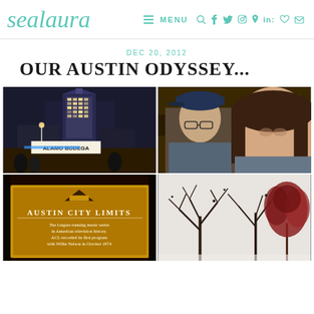sealaura — MENU navigation icons
DEC 20, 2012
OUR AUSTIN ODYSSEY...
[Figure (photo): Night skyline photo of Austin Texas showing a tall illuminated skyscraper and street scene with Alamo Bodegas sign]
[Figure (photo): Selfie of a couple (man in blue cap and glasses, woman) with Austin city lights in background at night]
[Figure (photo): Austin City Limits sign reading: The longest-running music series in American television history. ACL recorded its first program with Willie Nelson in October 1974]
[Figure (photo): Winter scene with bare trees and a red-leafed tree against a snowy white sky]